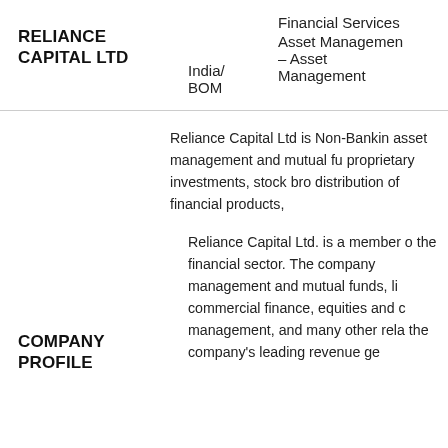| Company | Exchange | Sector/Industry |
| --- | --- | --- |
| RELIANCE CAPITAL LTD | India/BOM | Financial Services Asset Management – Asset Management |
Reliance Capital Ltd is Non-Banking asset management and mutual fu proprietary investments, stock bro distribution of financial products,
Reliance Capital Ltd. is a member of the financial sector. The company management and mutual funds, li commercial finance, equities and c management, and many other rela the company's leading revenue ge
COMPANY PROFILE